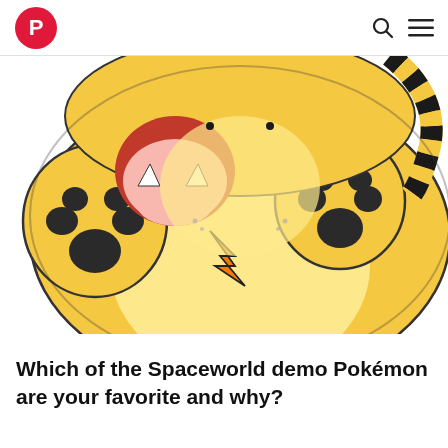P [logo] [search icon] [menu icon]
[Figure (illustration): Close-up illustration of a yellow cat-like Pokémon (resembling Elekid/electric cat) viewed from a top-down angle, showing its open mouth with fangs, dark round paw pads raised up, and an orange lightning bolt mark on its belly. The creature has black and yellow striped tail visible on the right side. Art style is anime/game illustration.]
Which of the Spaceworld demo Pokémon are your favorite and why?